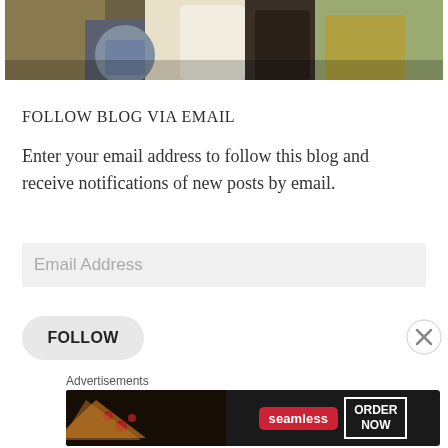[Figure (illustration): Partial view of a historical painting showing medieval figures including a knight in helmet and people in robes, cropped at top of page]
FOLLOW BLOG VIA EMAIL
Enter your email address to follow this blog and receive notifications of new posts by email.
[Figure (screenshot): Email Address input field with light gray background and placeholder text 'Email Address']
[Figure (screenshot): FOLLOW button with rounded pill shape and gray background]
[Figure (screenshot): Close/dismiss button with X circle icon on right side]
Advertisements
[Figure (screenshot): Seamless food delivery advertisement banner with pizza image, Seamless logo in red, and ORDER NOW button with white border on dark background]